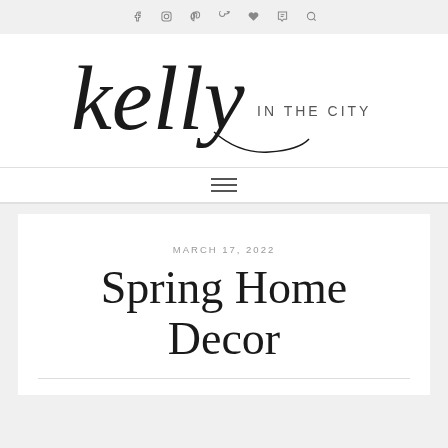Social icons: facebook, instagram, pinterest, twitter, heart, tumblr, search
[Figure (logo): Kelly in the City blog logo — cursive script 'kelly' in large black handwritten font followed by 'IN THE CITY' in small spaced caps]
Navigation hamburger menu icon
MARCH 17, 2022
Spring Home Decor